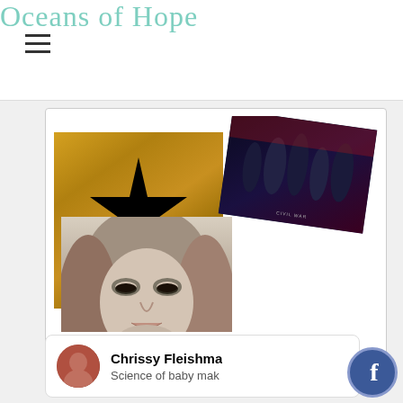Oceans of Hope
[Figure (illustration): Collage of three album/movie covers: Hamilton musical album (gold background with star and silhouette), Marvel Civil War movie poster (dark superhero scene, rotated), and Adele album cover (close-up black and white portrait of woman's face)]
Privacy
Chrissy Fleishma
Science of baby mak